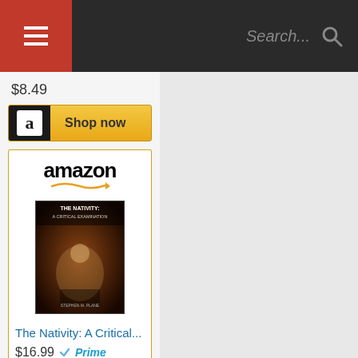≡  Search...
$8.49
[Figure (screenshot): Amazon Shop now button with black icon box and gold background]
[Figure (screenshot): Amazon product listing card for 'The Nativity: A Critical...' priced at $16.99 with Prime badge and Shop now button]
[Figure (screenshot): Partial Amazon product listing card at bottom of page showing amazon logo and partial book cover]